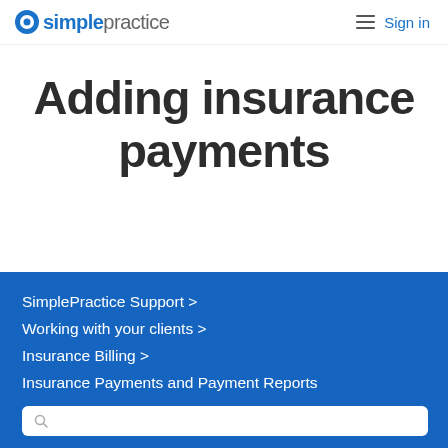SimplePractice  Sign in
Adding insurance payments
SimplePractice Support >
Working with your clients >
Insurance Billing >
Insurance Payments and Payment Reports